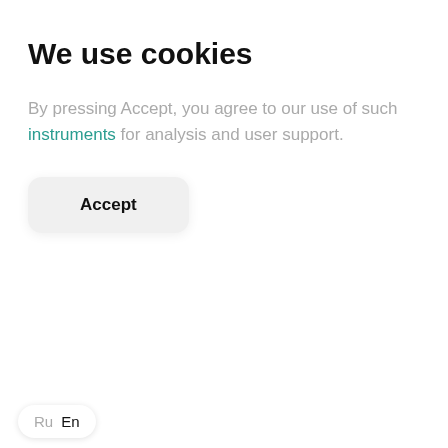We use cookies
By pressing Accept, you agree to our use of such instruments for analysis and user support.
[Figure (other): Accept button — a rounded rectangle button with bold label 'Accept']
[Figure (other): Date circle badge showing '27 Aug' with teal border, news card peeking from bottom with headline 'Acron Releases IFRS Consolidated Statements for H1 2009', and a language switcher showing 'Ru En']